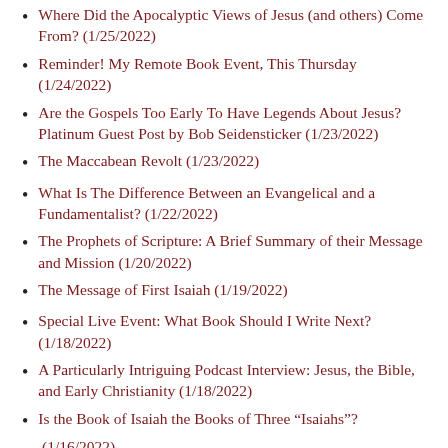Where Did the Apocalyptic Views of Jesus (and others) Come From? (1/25/2022)
Reminder! My Remote Book Event, This Thursday (1/24/2022)
Are the Gospels Too Early To Have Legends About Jesus? Platinum Guest Post by Bob Seidensticker (1/23/2022)
The Maccabean Revolt (1/23/2022)
What Is The Difference Between an Evangelical and a Fundamentalist? (1/22/2022)
The Prophets of Scripture: A Brief Summary of their Message and Mission (1/20/2022)
The Message of First Isaiah (1/19/2022)
Special Live Event: What Book Should I Write Next? (1/18/2022)
A Particularly Intriguing Podcast Interview: Jesus, the Bible, and Early Christianity (1/18/2022)
Is the Book of Isaiah the Books of Three “Isaiahs”? (1/16/2022)